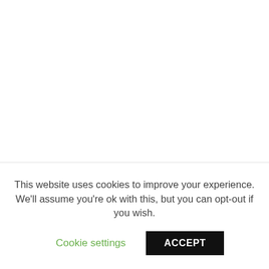Imagine how we'd laugh if Hallmark put out the Valentine's Day candy in November? Or if the Independence Day fireworks started going off in May? We would all think that it's ridiculous, but that's the same amount of time before
This website uses cookies to improve your experience. We'll assume you're ok with this, but you can opt-out if you wish.
Cookie settings
ACCEPT